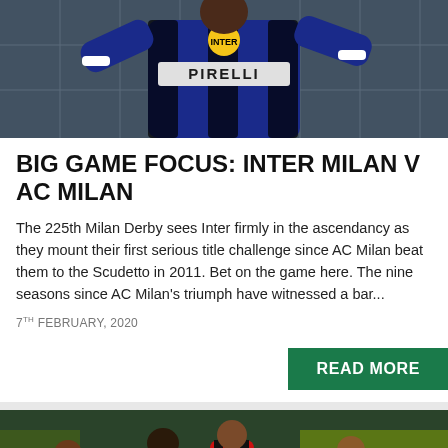[Figure (photo): Inter Milan player in blue and black PIRELLI jersey celebrating or posing against a net background]
BIG GAME FOCUS: INTER MILAN V AC MILAN
The 225th Milan Derby sees Inter firmly in the ascendancy as they mount their first serious title challenge since AC Milan beat them to the Scudetto in 2011. Bet on the game here. The nine seasons since AC Milan's triumph have witnessed a bar...
7TH FEBRUARY, 2020
READ MORE
[Figure (photo): Football match action shot showing AC Milan players in red/black striped jerseys and Inter Milan players in blue/black jerseys during a derby match]